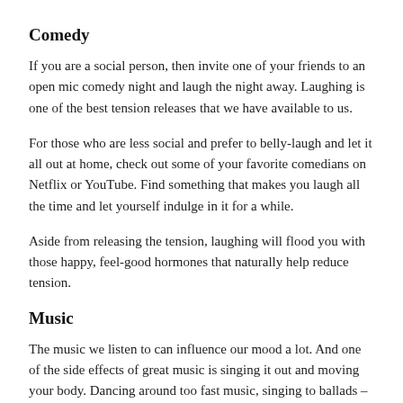Comedy
If you are a social person, then invite one of your friends to an open mic comedy night and laugh the night away. Laughing is one of the best tension releases that we have available to us.
For those who are less social and prefer to belly-laugh and let it all out at home, check out some of your favorite comedians on Netflix or YouTube. Find something that makes you laugh all the time and let yourself indulge in it for a while.
Aside from releasing the tension, laughing will flood you with those happy, feel-good hormones that naturally help reduce tension.
Music
The music we listen to can influence our mood a lot. And one of the side effects of great music is singing it out and moving your body. Dancing around too fast music, singing to ballads – all of these things help to reduce tension.
If body tension and mental tension prevent you from getting a good